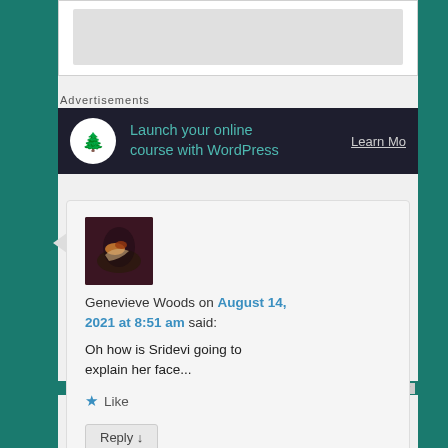[Figure (other): Partial image placeholder at top of page, light grey rectangle]
Advertisements
[Figure (infographic): Advertisement banner: dark navy background, white circle icon with tree, teal text 'Launch your online course with WordPress', grey text 'Learn Mo...']
[Figure (photo): Avatar photo for Genevieve Woods, dark floral/bird image]
Genevieve Woods on August 14, 2021 at 8:51 am said:
Oh how is Sridevi going to explain her face...
Like
Reply